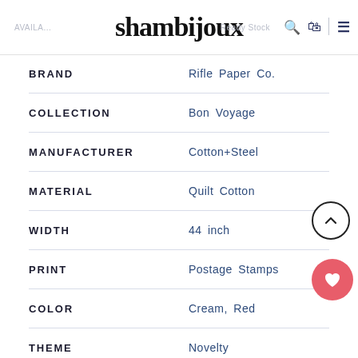shambijoux — AVAILABLE | Ready Stock
| Attribute | Value |
| --- | --- |
| BRAND | Rifle Paper Co. |
| COLLECTION | Bon Voyage |
| MANUFACTURER | Cotton+Steel |
| MATERIAL | Quilt Cotton |
| WIDTH | 44 inch |
| PRINT | Postage Stamps |
| COLOR | Cream, Red |
| THEME | Novelty |